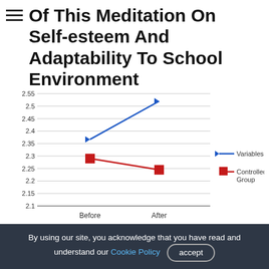Of This Meditation On Self-esteem And Adaptability To School Environment
[Figure (line-chart): ]
The effects of this meditation on elementary school children's self-esteem and adaptability to school...